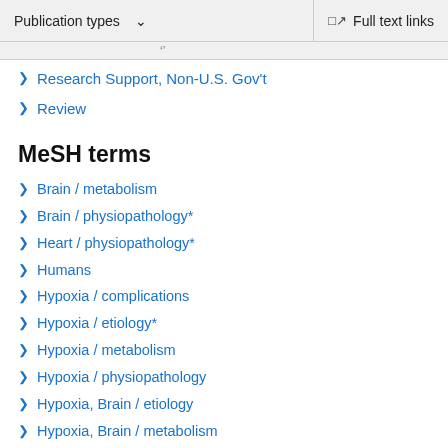Publication types  ∨    Full text links
Research Support, Non-U.S. Gov't
Review
MeSH terms
Brain / metabolism
Brain / physiopathology*
Heart / physiopathology*
Humans
Hypoxia / complications
Hypoxia / etiology*
Hypoxia / metabolism
Hypoxia / physiopathology
Hypoxia, Brain / etiology
Hypoxia, Brain / metabolism
Hypoxia, Brain / physiopathology